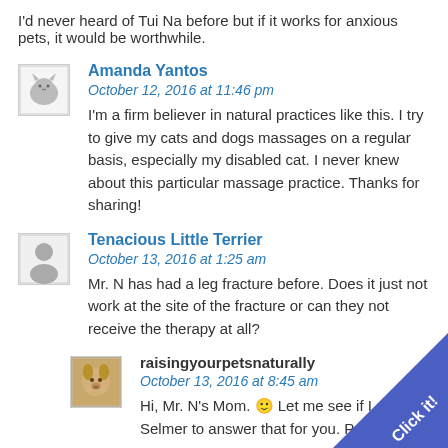I'd never heard of Tui Na before but if it works for anxious pets, it would be worthwhile.
Amanda Yantos
October 12, 2016 at 11:46 pm
I'm a firm believer in natural practices like this. I try to give my cats and dogs massages on a regular basis, especially my disabled cat. I never knew about this particular massage practice. Thanks for sharing!
Tenacious Little Terrier
October 13, 2016 at 1:25 am
Mr. N has had a leg fracture before. Does it just not work at the site of the fracture or can they not receive the therapy at all?
raisingyourpetsnaturally
October 13, 2016 at 8:45 am
Hi, Mr. N's Mom. 🙂 Let me see if I can ge Selmer to answer that for you. Poor Mr.